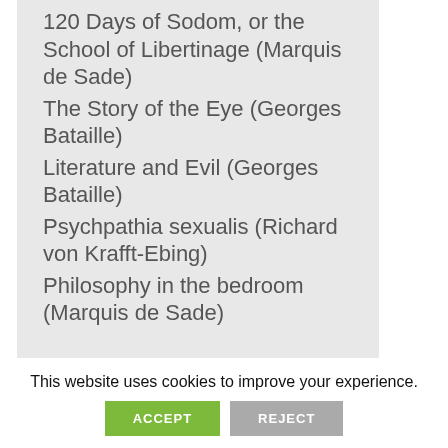120 Days of Sodom, or the School of Libertinage (Marquis de Sade)
The Story of the Eye (Georges Bataille)
Literature and Evil (Georges Bataille)
Psychpathia sexualis (Richard von Krafft-Ebing)
Philosophy in the bedroom (Marquis de Sade)
This website uses cookies to improve your experience.
ACCEPT
REJECT